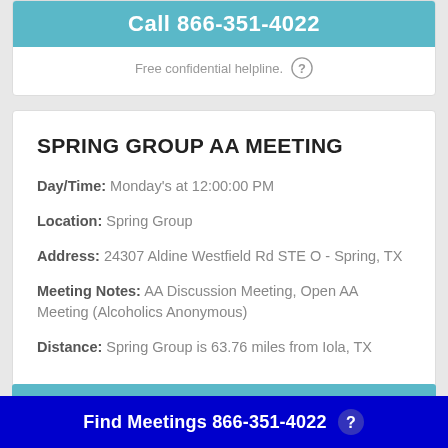Call 866-351-4022
Free confidential helpline.
SPRING GROUP AA MEETING
Day/Time: Monday's at 12:00:00 PM
Location: Spring Group
Address: 24307 Aldine Westfield Rd STE O - Spring, TX
Meeting Notes: AA Discussion Meeting, Open AA Meeting (Alcoholics Anonymous)
Distance: Spring Group is 63.76 miles from Iola, TX
Call 866-351-4022
Find Meetings 866-351-4022